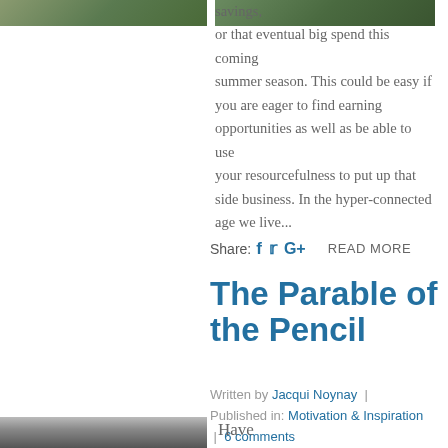[Figure (photo): Partial top image, cropped, showing outdoor scene]
savings, or that eventual big spend this coming summer season. This could be easy if you are eager to find earning opportunities as well as be able to use your resourcefulness to put up that side business. In the hyper-connected age we live...
Share: [facebook] [twitter] [google+]   READ MORE
The Parable of the Pencil
Written by Jacqui Noynay  |  Published in: Motivation & Inspiration  |  6 comments
[Figure (photo): Bottom partial image, black and white, cropped]
Have